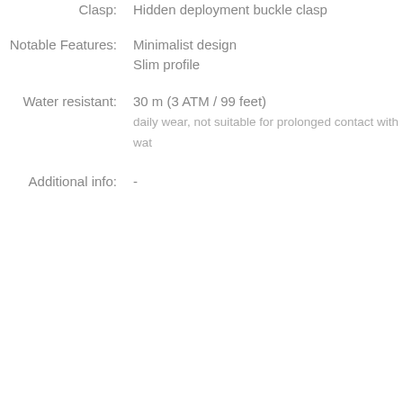Clasp: Hidden deployment buckle clasp
Notable Features: Minimalist design
Slim profile
Water resistant: 30 m (3 ATM / 99 feet)
daily wear, not suitable for prolonged contact with water
Additional info: -